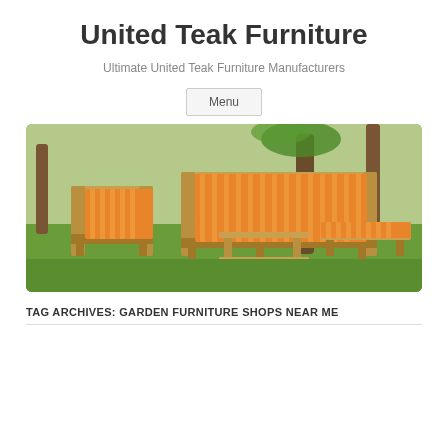United Teak Furniture
Ultimate United Teak Furniture Manufacturers
Menu
[Figure (photo): Outdoor teak furniture set on a lawn: one armchair with orange-striped cushions on the left, a three-seat sofa with matching orange-striped cushions in the center-back, a square teak coffee table in the middle, and a rectangular ottoman with orange-striped cushion on the right. Tropical trees in the background.]
TAG ARCHIVES: GARDEN FURNITURE SHOPS NEAR ME